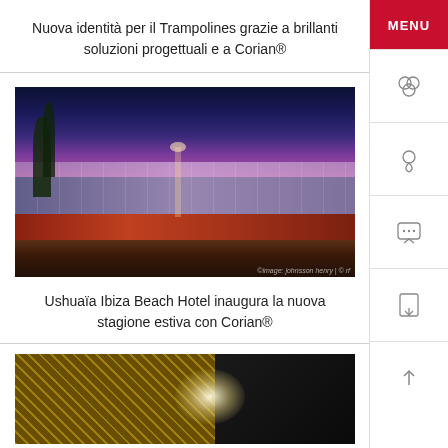Nuova identità per il Trampolines grazie a brillanti soluzioni progettuali e a Corian®
[Figure (photo): Night photograph of a building exterior (likely the Trampolines venue) with illuminated facade showing purple and red lighting, palm trees, and a street in the foreground]
Ushuaïa Ibiza Beach Hotel inaugura la nuova stagione estiva con Corian®
[Figure (photo): Close-up photograph of dark metallic mesh or grille material with a bright light source visible]
MENU